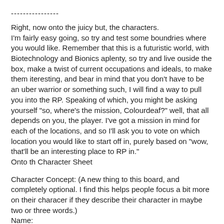----------------
Right, now onto the juicy but, the characters.
I'm fairly easy going, so try and test some boundries where you would like. Remember that this is a futuristic world, with Biotechnology and Bionics aplenty, so try and live ouside the box, make a twist of current occupations and ideals, to make them iteresting, and bear in mind that you don't have to be an uber warrior or something such, I will find a way to pull you into the RP. Speaking of which, you might be asking yourself "so, where's the mission, Colourdeaf?" well, that all depends on you, the player. I've got a mission in mind for each of the locations, and so I'll ask you to vote on which location you would like to start off in, purely based on "wow, that'll be an interesting place to RP in."
Onto th Character Sheet
Character Concept: (A new thing to this board, and completely optional. I find this helps people focus a bit more on their characer if they describe their character in maybe two or three words.)
Name:
Age: